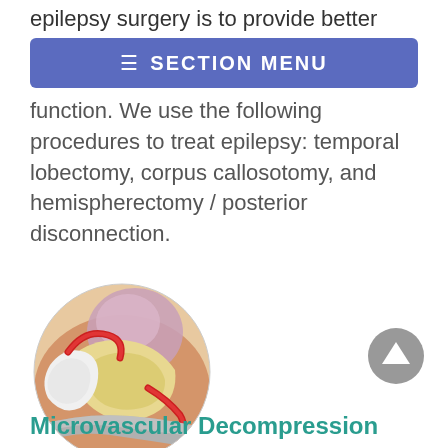epilepsy surgery is to provide better control
≡ SECTION MENU
function. We use the following procedures to treat epilepsy: temporal lobectomy, corpus callosotomy, and hemispherectomy / posterior disconnection.
[Figure (illustration): Medical illustration of a surgical procedure showing brain anatomy with red blood vessels, white neural tissue structures, and a gray surgical retractor/instrument.]
Microvascular Decompression